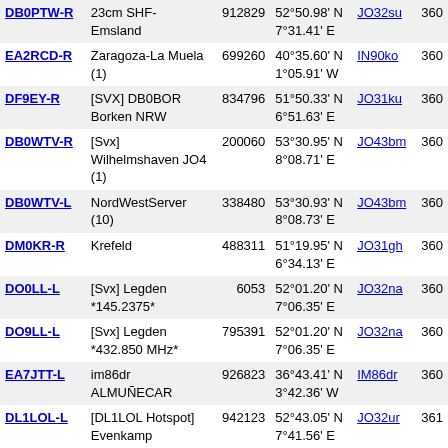| Callsign | Description | Node | Coordinates | Grid | Freq |
| --- | --- | --- | --- | --- | --- |
| DB0PTW-R | 23cm SHF-Emsland | 912829 | 52°50.98' N 7°31.41' E | JO32su | 360 |
| EA2RCD-R | Zaragoza-La Muela (1) | 699260 | 40°35.60' N 1°05.91' W | IN90ko | 360 |
| DF9EY-R | [SVX] DB0BOR Borken NRW | 834796 | 51°50.33' N 6°51.63' E | JO31ku | 360 |
| DB0WTV-R | [Svx] Wilhelmshaven JO4 (1) | 200060 | 53°30.95' N 8°08.71' E | JO43bm | 360 |
| DB0WTV-L | NordWestServer (10) | 338480 | 53°30.93' N 8°08.73' E | JO43bm | 360 |
| DM0KR-R | Krefeld | 488311 | 51°19.95' N 6°34.13' E | JO31gh | 360 |
| DO0LL-L | [Svx] Legden *145.2375* | 6053 | 52°01.20' N 7°06.35' E | JO32na | 360 |
| DO9LL-L | [Svx] Legden *432.850 MHz* | 795391 | 52°01.20' N 7°06.35' E | JO32na | 360 |
| EA7JTT-L | im86dr ALMUÑECAR | 926823 | 36°43.41' N 3°42.36' W | IM86dr | 360 |
| DL1LOL-L | [DL1LOL Hotspot] Evenkamp | 942123 | 52°43.05' N 7°41.56' E | JO32ur | 361 |
| DB0RTV-R | Rheine JO32QG 145,6125 | 501950 | 52°16.12' N 7°24.49' E | JO32qg | 361 |
| DB0BHV-R | [Svx] Bremerhaven 2m (1) | 957085 | 53°35.26' N 8°36.63' E | JO43ho | 362 |
| DB0POC-L | [Svx] 432.800 Recklinghsn | 96369 | 51°37.58' N 7°11.70' E | JO31op | 362 |